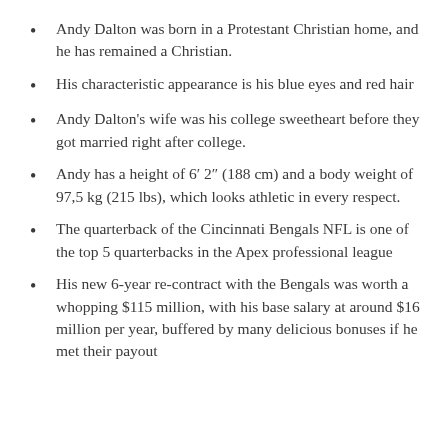Andy Dalton was born in a Protestant Christian home, and he has remained a Christian.
His characteristic appearance is his blue eyes and red hair
Andy Dalton's wife was his college sweetheart before they got married right after college.
Andy has a height of 6′ 2″ (188 cm) and a body weight of 97,5 kg (215 lbs), which looks athletic in every respect.
The quarterback of the Cincinnati Bengals NFL is one of the top 5 quarterbacks in the Apex professional league
His new 6-year re-contract with the Bengals was worth a whopping $115 million, with his base salary at around $16 million per year, buffered by many delicious bonuses if he met their payout